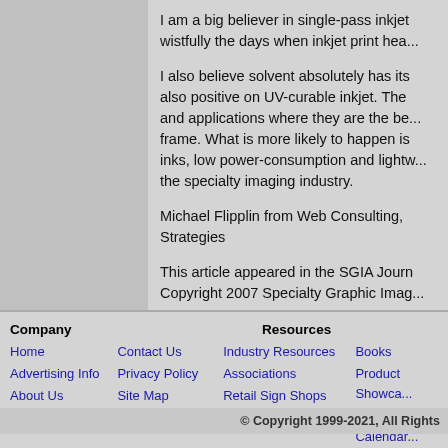I am a big believer in single-pass inkjet wistfully the days when inkjet print hea...
I also believe solvent absolutely has its also positive on UV-curable inkjet. The and applications where they are the be... frame. What is more likely to happen is inks, low power-consumption and lightw... the specialty imaging industry.
Michael Flipplin from Web Consulting, T Strategies
This article appeared in the SGIA Journ Copyright 2007 Specialty Graphic Imag...
Company | Home | Advertising Info | About Us | Contact Us | Privacy Policy | Site Map | Resources | Industry Resources | Associations | Retail Sign Shops | Books | Product Showcase | Event Calendar | © Copyright 1999-2021, All Rights